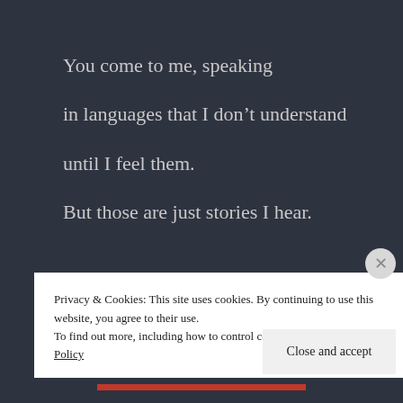You come to me, speaking
in languages that I don’t understand
until I feel them.
But those are just stories I hear.
First I must be silent inside.
Privacy & Cookies: This site uses cookies. By continuing to use this website, you agree to their use.
To find out more, including how to control cookies, see here: Cookie Policy
Close and accept